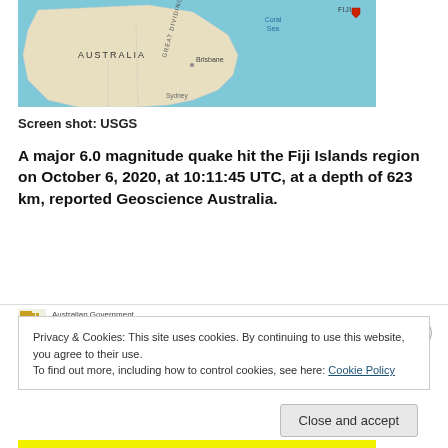[Figure (map): Map showing Australia and surrounding Pacific Ocean region (Coral Sea, Fiji area) with a red marker dot near Fiji indicating earthquake location. Labels visible: AUSTRALIA, GREAT DIVIDING RANGE, Coral Sea, Brisbane, Fiti, FIJI.]
Screen shot: USGS
A major 6.0 magnitude quake hit the Fiji Islands region on October 6, 2020, at 10:11:45 UTC, at a depth of 623 km, reported Geoscience Australia.
[Figure (screenshot): Partial screenshot of Geoscience Australia (Australian Government) page showing EarthquakesGA header, partly obscured by cookie consent banner.]
Privacy & Cookies: This site uses cookies. By continuing to use this website, you agree to their use.
To find out more, including how to control cookies, see here: Cookie Policy